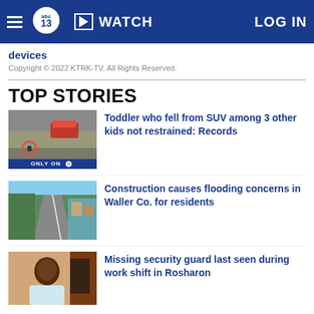ABC13 | WATCH | LOG IN
devices
Copyright © 2022 KTRK-TV. All Rights Reserved.
TOP STORIES
[Figure (photo): Thumbnail of SUV on road with circle marking, ONLY ON ABC13 badge]
Toddler who fell from SUV among 3 other kids not restrained: Records
[Figure (photo): Aerial thumbnail of highway construction area]
Construction causes flooding concerns in Waller Co. for residents
[Figure (photo): Thumbnail of man in interview setting]
Missing security guard last seen during work shift in Rosharon